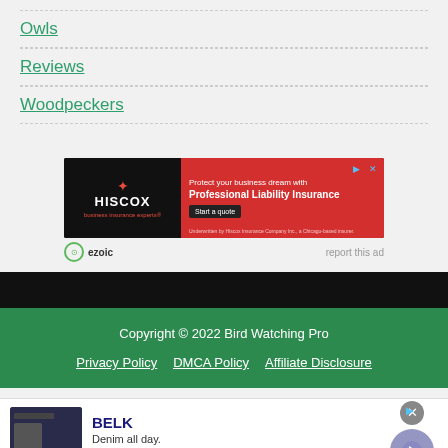Owls
Reviews
Woodpeckers
[Figure (other): Hiscox Professional Liability Insurance advertisement banner with red background and Start a quote button]
ezoic   report this ad
Copyright © 2022 Bird Watching Pro
Privacy Policy   DMCA Policy   Affiliate Disclosure
[Figure (other): BELK advertisement - Denim all day. www.belk.com]